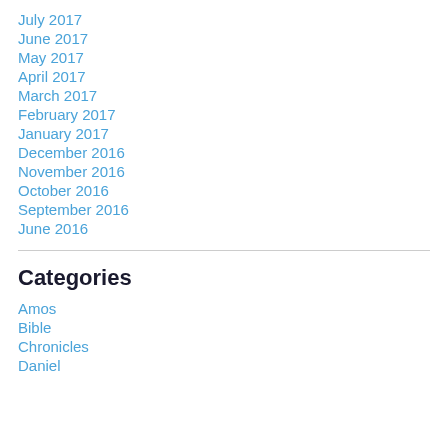July 2017
June 2017
May 2017
April 2017
March 2017
February 2017
January 2017
December 2016
November 2016
October 2016
September 2016
June 2016
Categories
Amos
Bible
Chronicles
Daniel